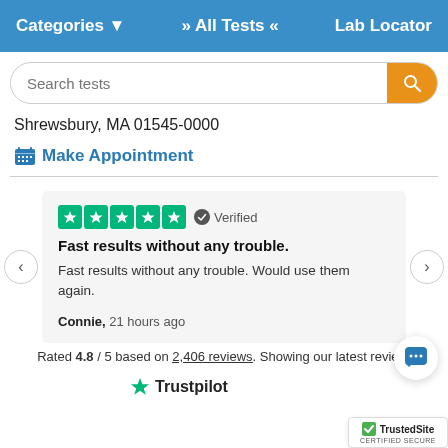Categories ▾   » All Tests «   Lab Locator
Search tests
Shrewsbury, MA 01545-0000
Make Appointment
Fast results without any trouble.
Fast results without any trouble. Would use them again.
Connie, 21 hours ago
Rated 4.8 / 5 based on 2,406 reviews. Showing our latest review.
[Figure (logo): Trustpilot logo with green star]
[Figure (logo): TrustedSite Certified Secure badge]